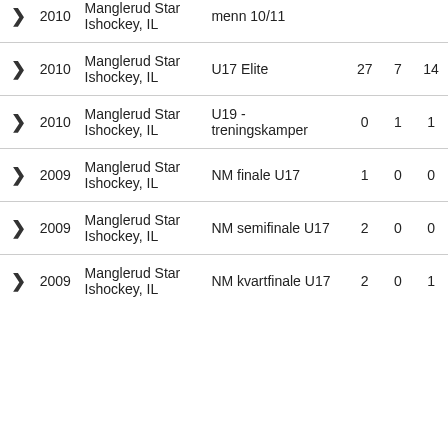|  | Year | Club | League | Col1 | Col2 | Col3 |
| --- | --- | --- | --- | --- | --- | --- |
| > | 2010 | Manglerud Star Ishockey, IL | menn 10/11 |  |  |  |
| > | 2010 | Manglerud Star Ishockey, IL | U17 Elite | 27 | 7 | 14 |
| > | 2010 | Manglerud Star Ishockey, IL | U19 - treningskamper | 0 | 1 | 1 |
| > | 2009 | Manglerud Star Ishockey, IL | NM finale U17 | 1 | 0 | 0 |
| > | 2009 | Manglerud Star Ishockey, IL | NM semifinale U17 | 2 | 0 | 0 |
| > | 2009 | Manglerud Star Ishockey, IL | NM kvartfinale U17 | 2 | 0 | 1 |